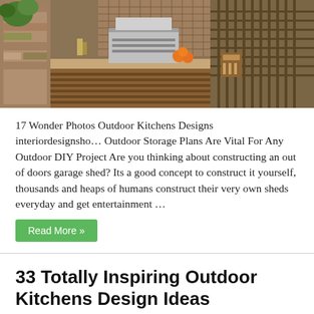[Figure (photo): Outdoor kitchen with stone and wood construction, stainless steel grill, oranges on counter, wooden pergola/screen in background]
17 Wonder Photos Outdoor Kitchens Designs interiordesignsho… Outdoor Storage Plans Are Vital For Any Outdoor DIY Project Are you thinking about constructing an out of doors garage shed? Its a good concept to construct it yourself, thousands and heaps of humans construct their very own sheds everyday and get entertainment …
Read More »
33 Totally Inspiring Outdoor Kitchens Design Ideas
September 11, 2019   Outdoor Kitchen   0   342